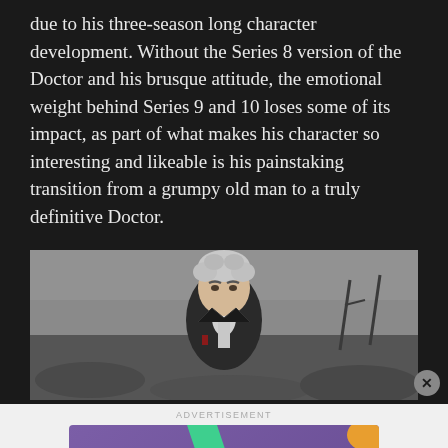due to his three-season long character development. Without the Series 8 version of the Doctor and his brusque attitude, the emotional weight behind Series 9 and 10 loses some of its impact, as part of what makes his character so interesting and likeable is his painstaking transition from a grumpy old man to a truly definitive Doctor.
[Figure (photo): Photo of a man with curly white/grey hair wearing a dark jacket, standing outdoors in a rocky/grey landscape. Appears to be a still from a TV show (Doctor Who), showing Peter Capaldi as the Doctor.]
[Figure (other): WooCommerce advertisement banner with purple background, WooCommerce logo on left, green arrow shape, and text 'How to start selling subscriptions online' with orange and teal decorative shapes on the right.]